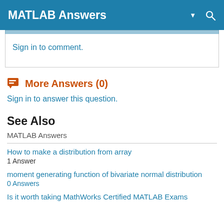MATLAB Answers
Sign in to comment.
More Answers (0)
Sign in to answer this question.
See Also
MATLAB Answers
How to make a distribution from array
1 Answer
moment generating function of bivariate normal distribution
0 Answers
Is it worth taking MathWorks Certified MATLAB Exams